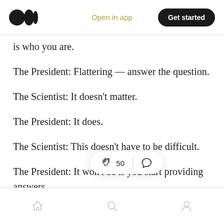Open in app | Get started
is who you are.
The President: Flattering — answer the question.
The Scientist: It doesn't matter.
The President: It does.
The Scientist: This doesn't have to be difficult.
The President: It won't be if you start providing answers.
The Scientist: I'm [partially obscured] the answers
Home | Search | Profile